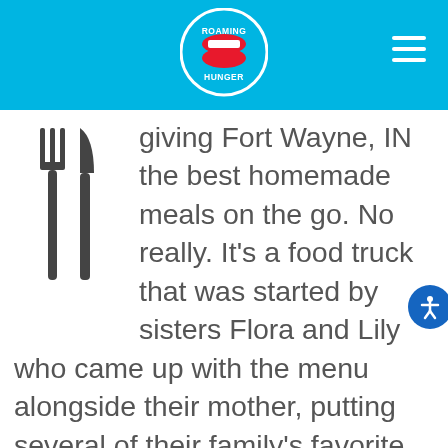Roaming Hunger
[Figure (logo): Roaming Hunger logo - circular logo with red lips and white teeth, text ROAMING HUNGER in white on blue background]
[Figure (illustration): Fork and knife icon in dark gray]
giving Fort Wayne, IN the best homemade meals on the go. No really. It's a food truck that was started by sisters Flora and Lily who came up with the menu alongside their mother, putting several of their family's favorite meals on board. And we couldn't be more grateful, really. This foodie family already has several star studded restaurants all over northern Mexico, inspiring hundreds to become